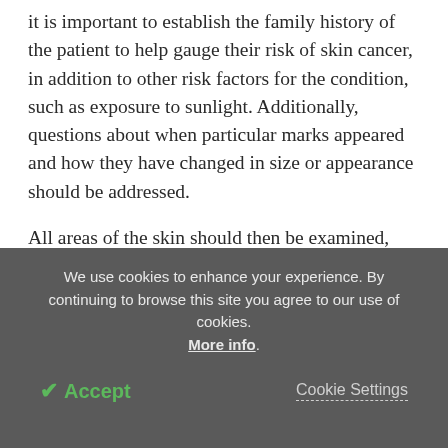it is important to establish the family history of the patient to help gauge their risk of skin cancer, in addition to other risk factors for the condition, such as exposure to sunlight. Additionally, questions about when particular marks appeared and how they have changed in size or appearance should be addressed.
All areas of the skin should then be examined, and suspicious areas should be looked at more closely for specific characteristics that may suggest SCC, such as irregularity of shape. Any spots that have been noted to have abnormal growth should be examined more
We use cookies to enhance your experience. By continuing to browse this site you agree to our use of cookies. More info.
✓ Accept
Cookie Settings